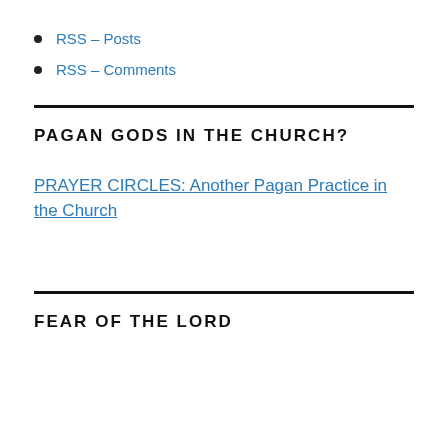RSS – Posts
RSS – Comments
PAGAN GODS IN THE CHURCH?
PRAYER CIRCLES: Another Pagan Practice in the Church
FEAR OF THE LORD